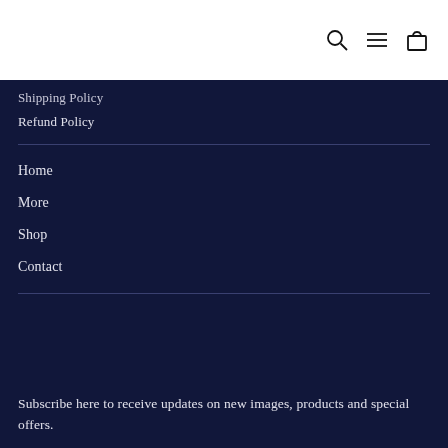[Header with search, navigation, and cart icons]
Shipping Policy (partial)
Refund Policy
Home
More
Shop
Contact
Subscribe here to receive updates on new images, products and special offers.